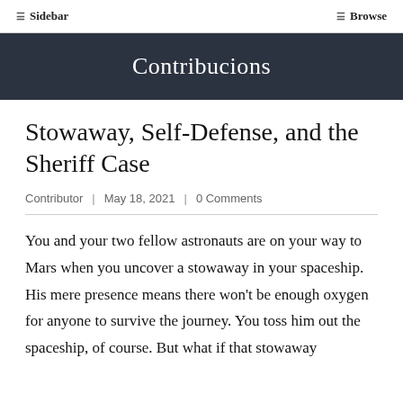☰ Sidebar   ☰ Browse
Contribucions
Stowaway, Self-Defense, and the Sheriff Case
Contributor | May 18, 2021 | 0 Comments
You and your two fellow astronauts are on your way to Mars when you uncover a stowaway in your spaceship. His mere presence means there won't be enough oxygen for anyone to survive the journey. You toss him out the spaceship, of course. But what if that stowaway